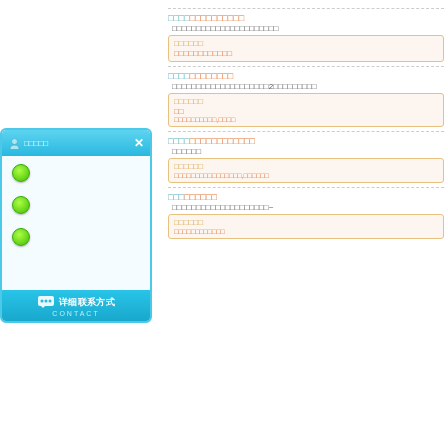[Figure (screenshot): Contact widget panel with blue gradient header showing a person icon and Chinese text, three green status dots in white body area, and a blue footer button with Chinese text 详细联系方式 and CONTACT]
【Chinese section header 1】
Chinese description text line 1
Chinese answer label and content block 1
【Chinese section header 2】
Chinese description text line 2 with number 2
Chinese answer content block 2
【Chinese section header 3】
Chinese description text line 3
Chinese answer content block 3
【Chinese section header 4】
Chinese description text with ~
Chinese answer content block 4